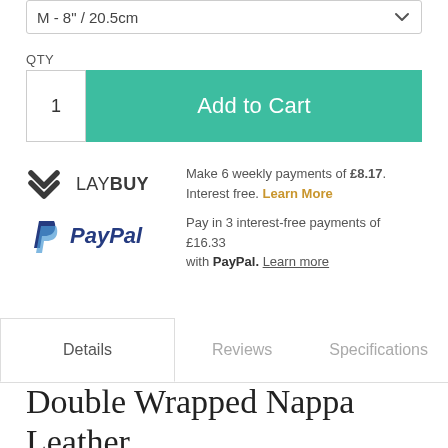M - 8" / 20.5cm
QTY
1
Add to Cart
[Figure (logo): Laybuy logo with double-chevron V mark and LAYBUY wordmark]
Make 6 weekly payments of £8.17. Interest free. Learn More
[Figure (logo): PayPal logo with P icon and PayPal wordmark in blue]
Pay in 3 interest-free payments of £16.33 with PayPal. Learn more
Details
Reviews
Specifications
Double Wrapped Nappa Leather Bracelet with Sterling Silver Closure-